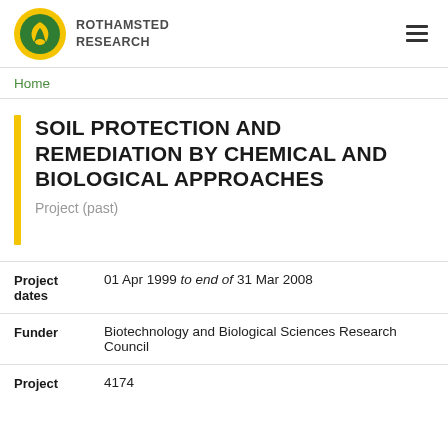ROTHAMSTED RESEARCH
Home
SOIL PROTECTION AND REMEDIATION BY CHEMICAL AND BIOLOGICAL APPROACHES
Project (past)
| Field | Value |
| --- | --- |
| Project dates | 01 Apr 1999 to end of 31 Mar 2008 |
| Funder | Biotechnology and Biological Sciences Research Council |
| Project | 4174 |